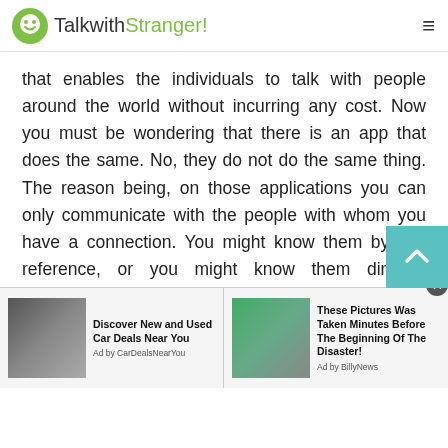TalkwithStranger!
that enables the individuals to talk with people around the world without incurring any cost. Now you must be wondering that there is an app that does the same. No, they do not do the same thing. The reason being, on those applications you can only communicate with the people with whom you have a connection. You might know them by any reference, or you might know them directly. However, if you wish to talk to a stranger through those platforms, say you want to video chat with random people of Somalia or simply want to chat with the people of Somalia. This thing is not possible on those
[Figure (screenshot): Advertisement: Discover New and Used Car Deals Near You - Ad by CarDealsNearYou]
[Figure (screenshot): Advertisement: These Pictures Was Taken Minutes Before The Beginning Of The Disaster! - Ad by BillyNews]